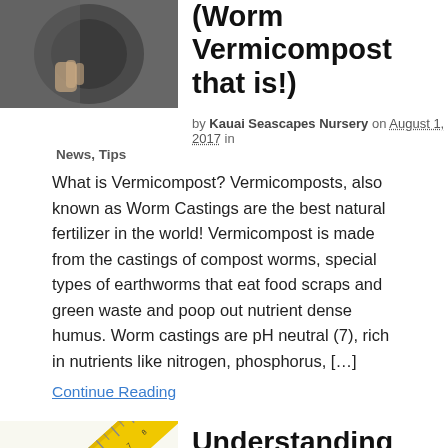[Figure (photo): Thumbnail photo of a person holding something dark/round against a dark sweater background]
(Worm Vermicompost that is!)
by Kauai Seascapes Nursery on August 1, 2017 in
News, Tips
What is Vermicompost? Vermicomposts, also known as Worm Castings are the best natural fertilizer in the world! Vermicompost is made from the castings of compost worms, special types of earthworms that eat food scraps and green waste and poop out nutrient dense humus. Worm castings are pH neutral (7), rich in nutrients like nitrogen, phosphorus, [...]
Continue Reading
[Figure (photo): Image of a yellow ruler or measuring tape at an angle]
Understanding Plant Labels: What does growth rate mean?